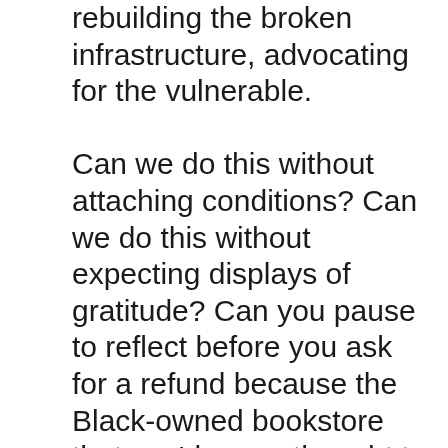rebuilding the broken infrastructure, advocating for the vulnerable.

Can we do this without attaching conditions? Can we do this without expecting displays of gratitude? Can you pause to reflect before you ask for a refund because the Black-owned bookstore that you'd never thought to buy before from told you all the books about racism were on backorder and by the way USPS shipping is